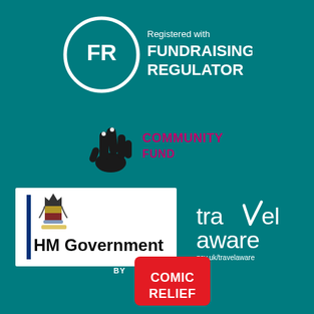[Figure (logo): Fundraising Regulator logo: circular badge with 'FR' initials, text 'Registered with FUNDRAISING REGULATOR' in white on teal background]
[Figure (logo): National Lottery Community Fund logo: hand with crossed fingers in black, 'COMMUNITY FUND' text in magenta/pink on teal background]
[Figure (logo): HM Government logo: royal coat of arms with blue vertical bar and 'HM Government' text on white rectangular background]
[Figure (logo): Travel Aware logo: 'travel aware' in white text with checkmark replacing 'v', 'gov.uk/travelaware' URL below, on teal background]
[Figure (logo): Comic Relief 'Funded By' logo: red badge with white 'FUNDED BY' text above a red square with 'COMIC RELIEF' in white bold text]